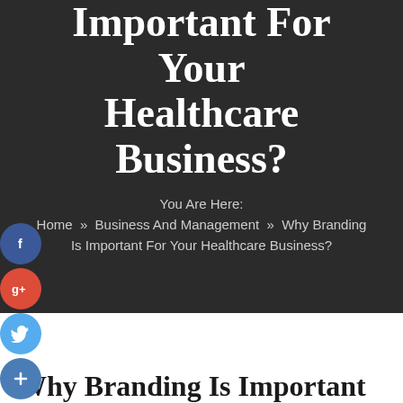Important For Your Healthcare Business?
You Are Here:
Home » Business And Management » Why Branding Is Important For Your Healthcare Business?
[Figure (infographic): Social media share buttons: Facebook (blue circle), Google+ (red circle), Twitter (light blue circle), Plus/Add (blue circle)]
Why Branding Is Important